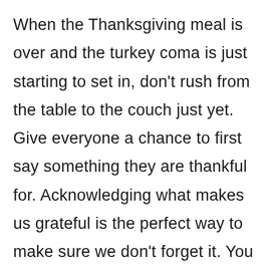When the Thanksgiving meal is over and the turkey coma is just starting to set in, don't rush from the table to the couch just yet. Give everyone a chance to first say something they are thankful for. Acknowledging what makes us grateful is the perfect way to make sure we don't forget it. You can also use the coming year to prepare for your next Thanksgiving by keeping track of the thankfulness you feel every day. Keep a jar of colorful notes for yourself, reminding you and the whole family what you're thankful for. Next Thanksgiving, open the jar and relive each special